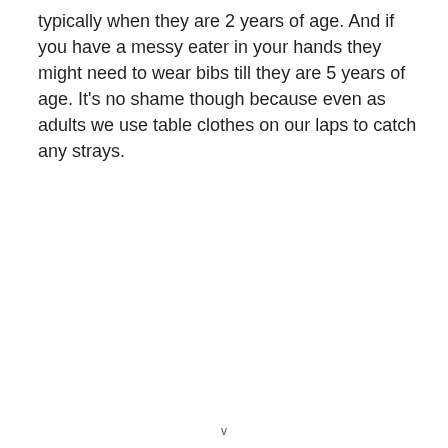typically when they are 2 years of age. And if you have a messy eater in your hands they might need to wear bibs till they are 5 years of age. It's no shame though because even as adults we use table clothes on our laps to catch any strays.
v